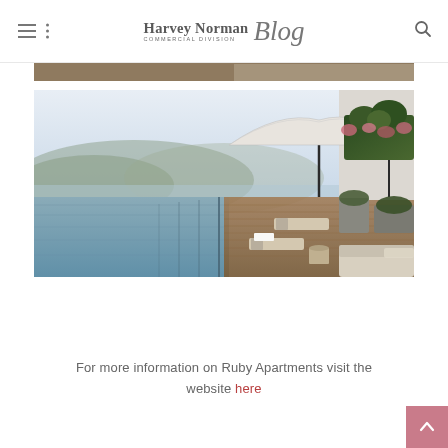Harvey Norman Commercial Division Blog
[Figure (photo): Cropped bottom edge of an interior room photo visible at top of content area]
[Figure (photo): Rooftop infinity pool area with sun loungers, large white umbrellas, green plants and flowers, overlooking a scenic landscape with hills and water in the background. Rendered architectural visualization of Ruby Apartments.]
For more information on Ruby Apartments visit the website here